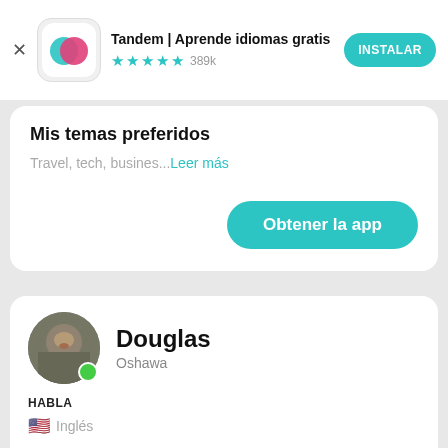[Figure (screenshot): Tandem app advertisement banner with app icon, name, star rating, and install button]
Mis temas preferidos
Travel, tech, busines...Leer más
Obtener la app
[Figure (photo): User profile photo of Douglas from Oshawa, circular avatar with green online indicator]
Douglas
Oshawa
HABLA
Inglés
APRENDE